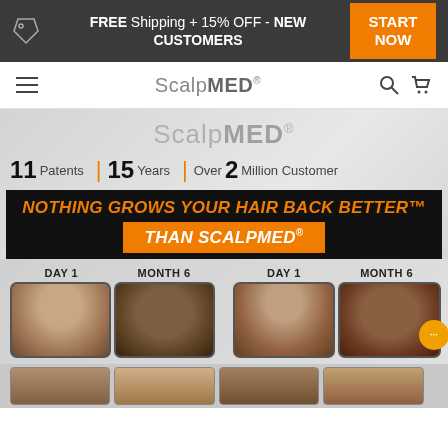FREE Shipping + 15% OFF - NEW CUSTOMERS | START NOW
ScalpMED
ScalpMED
11 Patents | 15 Years | Over 2 Million Customer
NOTHING GROWS YOUR HAIR BACK BETTER™
THAN SCALPMED®
DAY 1 | MONTH 6 | DAY 1 | MONTH 6
[Figure (photo): Before/after hair growth comparison photos showing Day 1 and Month 6 results for two customers]
[Figure (photo): Bottom strip showing additional before/after thumbnail photos]